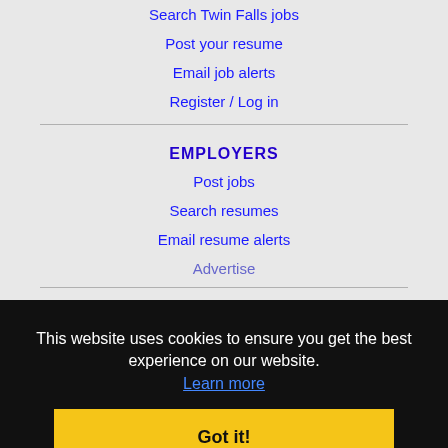Search Twin Falls jobs
Post your resume
Email job alerts
Register / Log in
EMPLOYERS
Post jobs
Search resumes
Email resume alerts
Advertise
IMMIGRATION SPECIALISTS
Post jobs
Immigration FAQs
Learn more
This website uses cookies to ensure you get the best experience on our website. Learn more
Got it!